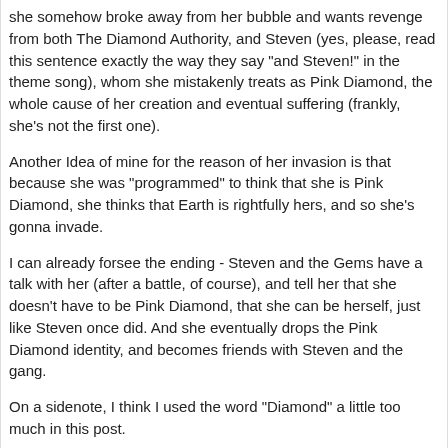she somehow broke away from her bubble and wants revenge from both The Diamond Authority, and Steven (yes, please, read this sentence exactly the way they say "and Steven!" in the theme song), whom she mistakenly treats as Pink Diamond, the whole cause of her creation and eventual suffering (frankly, she's not the first one).
Another Idea of mine for the reason of her invasion is that because she was "programmed" to think that she is Pink Diamond, she thinks that Earth is rightfully hers, and so she's gonna invade.
I can already forsee the ending - Steven and the Gems have a talk with her (after a battle, of course), and tell her that she doesn't have to be Pink Diamond, that she can be herself, just like Steven once did. And she eventually drops the Pink Diamond identity, and becomes friends with Steven and the gang.
On a sidenote, I think I used the word "Diamond" a little too much in this post.
Edited 11 Jul 2019 by Jumala